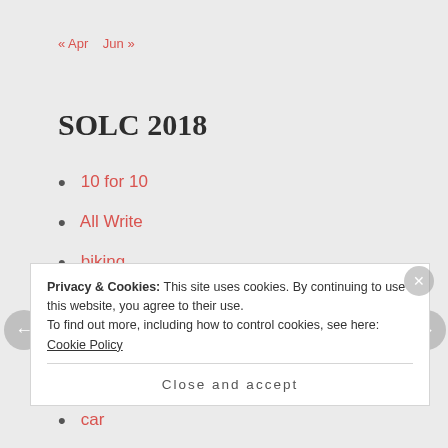« Apr   Jun »
SOLC 2018
10 for 10
All Write
biking
birds
books
books to use in teaching
car
Privacy & Cookies: This site uses cookies. By continuing to use this website, you agree to their use. To find out more, including how to control cookies, see here: Cookie Policy
Close and accept